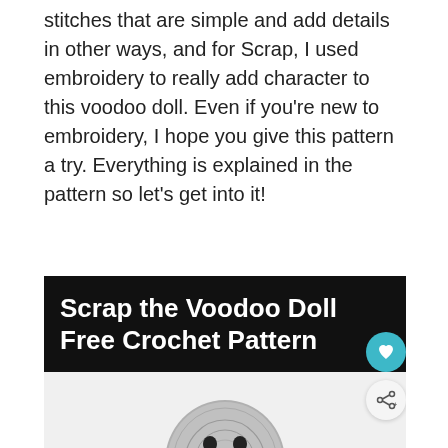stitches that are simple and add details in other ways, and for Scrap, I used embroidery to really add character to this voodoo doll. Even if you're new to embroidery, I hope you give this pattern a try. Everything is explained in the pattern so let's get into it!
[Figure (screenshot): Banner image with black background reading 'Scrap the Voodoo Doll Free Crochet Pattern' in white bold text, with a teal heart icon button on the right edge and a share icon button below it. Below the banner is a partial photo of a crocheted gray doll head on a light background.]